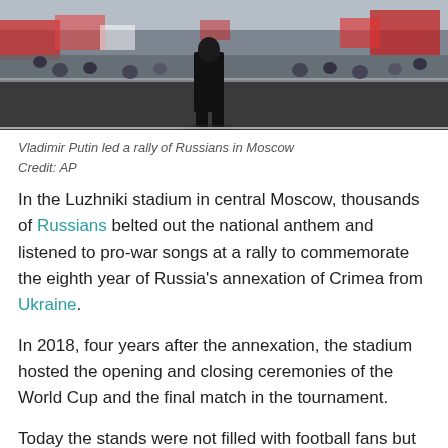[Figure (photo): Vladimir Putin walking on stage at a rally, crowd with Russian flags visible in the background]
Vladimir Putin led a rally of Russians in Moscow
Credit: AP
In the Luzhniki stadium in central Moscow, thousands of Russians belted out the national anthem and listened to pro-war songs at a rally to commemorate the eighth year of Russia's annexation of Crimea from Ukraine.
In 2018, four years after the annexation, the stadium hosted the opening and closing ceremonies of the World Cup and the final match in the tournament.
Today the stands were not filled with football fans but with patriotic Russians waving the country's red, white and blue flag in support of the war in Ukraine.
Broadcast live across Russia on state television, the